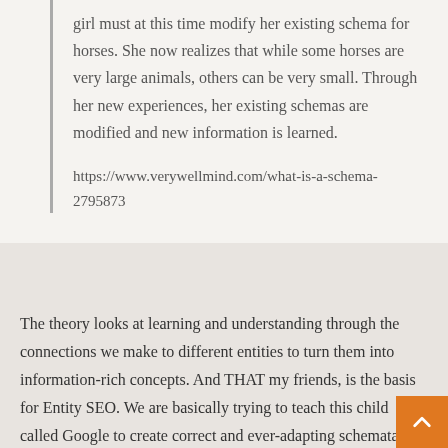girl must at this time modify her existing schema for horses. She now realizes that while some horses are very large animals, others can be very small. Through her new experiences, her existing schemas are modified and new information is learned.
https://www.verywellmind.com/what-is-a-schema-2795873
The theory looks at learning and understanding through the connections we make to different entities to turn them into information-rich concepts. And THAT my friends, is the basis for Entity SEO. We are basically trying to teach this child called Google to create correct and ever-adapting schemata for every single different entity it